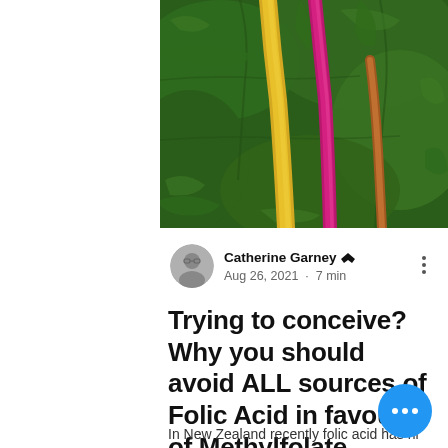[Figure (photo): Close-up photo of rainbow chard/Swiss chard leaves with yellow and pink/magenta stems against dark green leafy background]
Catherine Garney 👑 Aug 26, 2021 · 7 min
Trying to conceive? Why you should avoid ALL sources of Folic Acid in favour of Methylfolate
In New Zealand recently folic acid has hit headlines as the government is considering